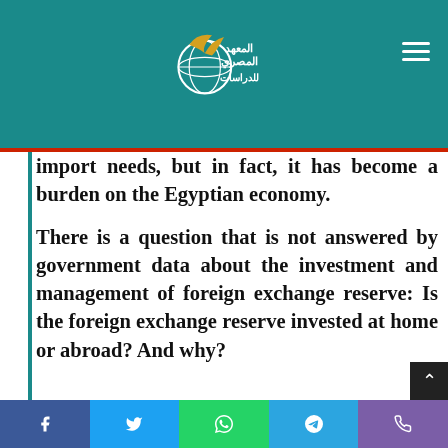المعهد المصري للدراسات [logo/navigation header]
government way out of its crises, including meeting its basic import needs, but in fact, it has become a burden on the Egyptian economy.
There is a question that is not answered by government data about the investment and management of foreign exchange reserve: Is the foreign exchange reserve invested at home or abroad? And why?
f  [Twitter icon]  [WhatsApp icon]  [Telegram icon]  [Phone icon]